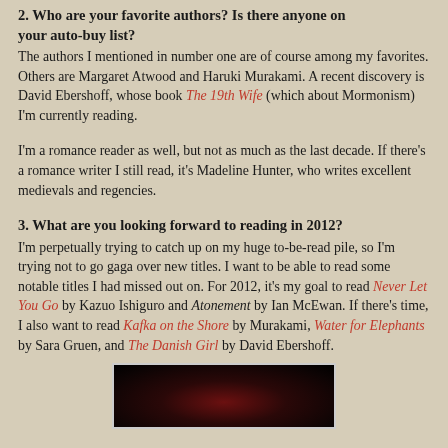2. Who are your favorite authors? Is there anyone on your auto-buy list?
The authors I mentioned in number one are of course among my favorites. Others are Margaret Atwood and Haruki Murakami. A recent discovery is David Ebershoff, whose book The 19th Wife (which about Mormonism) I'm currently reading.
I'm a romance reader as well, but not as much as the last decade. If there's a romance writer I still read, it's Madeline Hunter, who writes excellent medievals and regencies.
3. What are you looking forward to reading in 2012?
I'm perpetually trying to catch up on my huge to-be-read pile, so I'm trying not to go gaga over new titles. I want to be able to read some notable titles I had missed out on. For 2012, it's my goal to read Never Let You Go by Kazuo Ishiguro and Atonement by Ian McEwan. If there's time, I also want to read Kafka on the Shore by Murakami, Water for Elephants by Sara Gruen, and The Danish Girl by David Ebershoff.
[Figure (photo): Partial image visible at bottom of page, appears to be a dark/shadowy photograph]